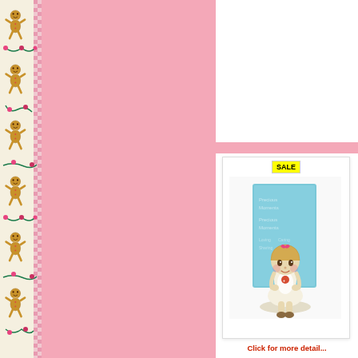[Figure (illustration): Repeating gingerbread man border strip with pink ribbon/floral accents and pink checkered pattern on cream background]
[Figure (photo): Product listing area with a SALE badge and a Precious Moments figurine (small girl holding something, with blue box in background)]
Click for more detail...